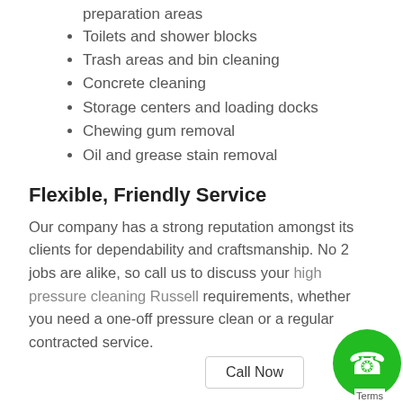preparation areas
Toilets and shower blocks
Trash areas and bin cleaning
Concrete cleaning
Storage centers and loading docks
Chewing gum removal
Oil and grease stain removal
Flexible, Friendly Service
Our company has a strong reputation amongst its clients for dependability and craftsmanship. No 2 jobs are alike, so call us to discuss your high pressure cleaning Russell requirements, whether you need a one-off pressure clean or a regular contracted service.